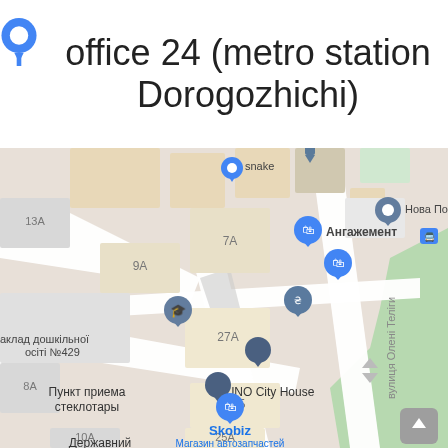office 24 (metro station Dorogozhichi)
[Figure (map): Google Maps screenshot showing a street map of a neighborhood in Kyiv, Ukraine near metro station Dorogozhichi. Visible landmarks include: snake (with blue marker), Нова По... (with grey marker), Ангажемент (with blue shopping bag marker), another blue shopping bag marker, a grey pin at 25Б, Пункт приема стеклотары, UNO City House, Skobiz - Магазин автозапчастей (with blue shopping bag marker), Державний архів... (partial), вулиця Олені Теліги (street name). Building numbers visible: 13A, 7A, 9A, 27A, 8A, 25Б, 25A, 10A. Green park area on right edge. Grey scroll-up button in bottom right corner.]